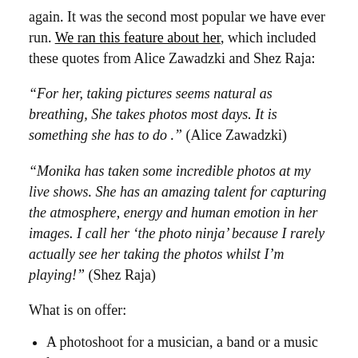again. It was the second most popular we have ever run. We ran this feature about her, which included these quotes from Alice Zawadzki and Shez Raja:
“For her, taking pictures seems natural as breathing, She takes photos most days. It is something she has to do .” (Alice Zawadzki)
“Monika has taken some incredible photos at my live shows. She has an amazing talent for capturing the atmosphere, energy and human emotion in her images. I call her ‘the photo ninja’ because I rarely actually see her taking the photos whilst I’m playing!” (Shez Raja)
What is on offer:
A photoshoot for a musician, a band or a music lover
For musicians it can either be a promo shoot, or gig photos, or